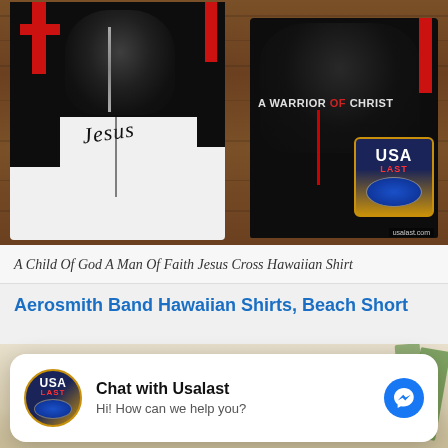[Figure (photo): Product photo of a Hawaiian shirt with warrior of Christ design — black shirt with knight/crusader imagery, cross, and 'A WARRIOR OF CHRIST' text, shown front and back on a wooden background. USA Last brand badge visible in corner.]
A Child Of God A Man Of Faith Jesus Cross Hawaiian Shirt
Aerosmith Band Hawaiian Shirts, Beach Short
[Figure (photo): Partial product photo of beach/Hawaiian themed items, partially obscured by chat popup.]
Chat with Usalast
Hi! How can we help you?